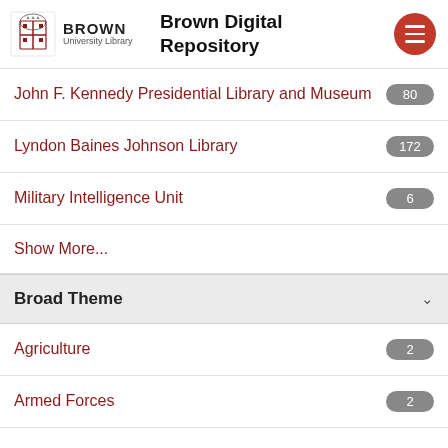Brown Digital Repository
John F. Kennedy Presidential Library and Museum
Lyndon Baines Johnson Library
Military Intelligence Unit
Show More...
Broad Theme
Agriculture
Armed Forces